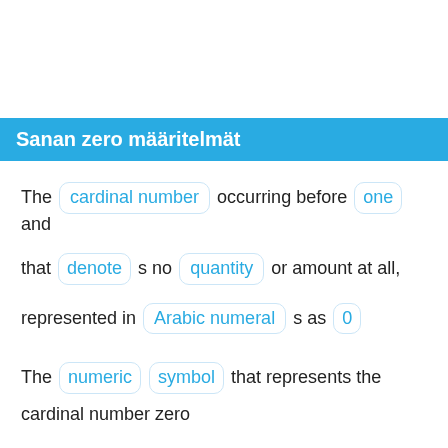Sanan zero määritelmät
The cardinal number occurring before one and that denote s no quantity or amount at all, represented in Arabic numeral s as 0
The numeric symbol that represents the cardinal number zero
The digit 0 in the decimal , binary , and all